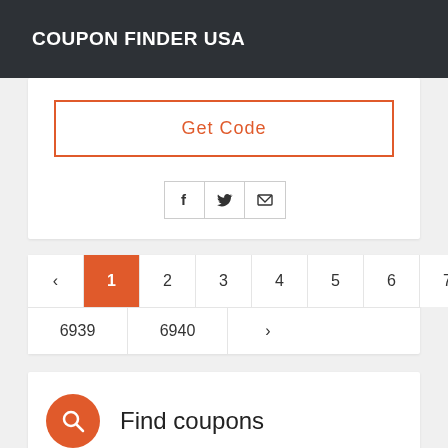COUPON FINDER USA
Get Code
[Figure (other): Social sharing icons: Facebook (f), Twitter (bird), and Email (envelope) in bordered square buttons]
‹ 1 2 3 4 5 6 7 8 9 10 ... 6939 6940 ›
Find coupons